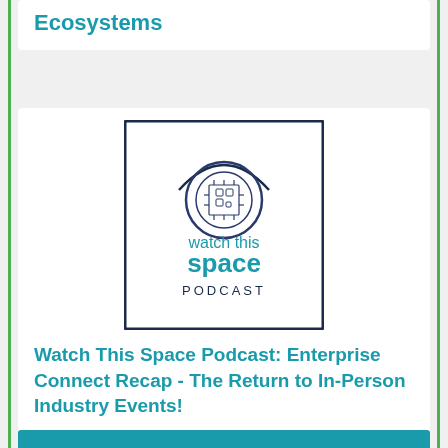Ecosystems
[Figure (logo): Watch This Space Podcast logo: circular circuit-board icon above the text 'watch this space' in teal and 'PODCAST' in dark navy, all inside a dark navy square border]
Watch This Space Podcast: Enterprise Connect Recap - The Return to In-Person Industry Events!